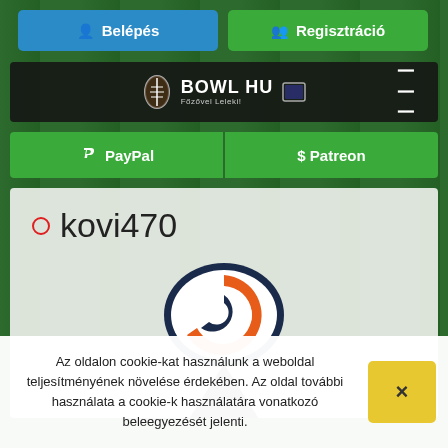[Figure (screenshot): Website header with Belépés (Login) and Regisztráció (Register) buttons on green grass background, Bowl.hu logo navigation bar, PayPal and Patreon payment buttons, user profile area showing kovi470 username with Chicago Bears logo, and cookie consent banner at bottom]
Belépés
Regisztráció
BOWL HU Főzővel Leleki!
PayPal
$ Patreon
kovi470
Az oldalon cookie-kat használunk a weboldal teljesítményének növelése érdekében. Az oldal további használata a cookie-k használatára vonatkozó beleegyezését jelenti.